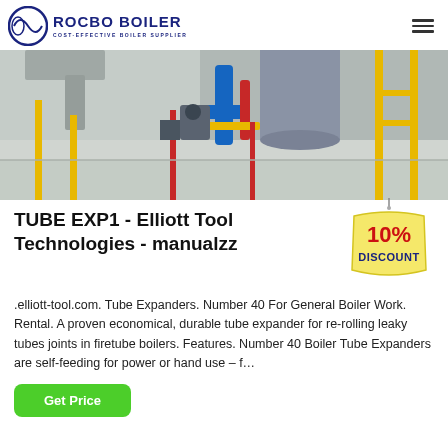ROCBO BOILER - COST-EFFECTIVE BOILER SUPPLIER
[Figure (photo): Industrial boiler room with piping, yellow handrails, and mechanical equipment on a polished floor.]
TUBE EXP1 - Elliott Tool Technologies - manualzz
[Figure (illustration): 10% DISCOUNT badge/tag graphic in red, blue and yellow.]
.elliott-tool.com. Tube Expanders. Number 40 For General Boiler Work. Rental. A proven economical, durable tube expander for re-rolling leaky tubes joints in firetube boilers. Features. Number 40 Boiler Tube Expanders are self-feeding for power or hand use – f…
Get Price